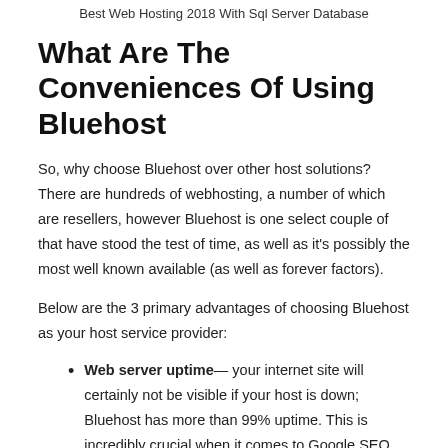Best Web Hosting 2018 With Sql Server Database
What Are The Conveniences Of Using Bluehost
So, why choose Bluehost over other host solutions? There are hundreds of webhosting, a number of which are resellers, however Bluehost is one select couple of that have stood the test of time, as well as it's possibly the most well known available (as well as forever factors).
Below are the 3 primary advantages of choosing Bluehost as your host service provider:
Web server uptime— your internet site will certainly not be visible if your host is down; Bluehost has more than 99% uptime. This is incredibly crucial when it comes to Google SEO and also positions. The higher the much better.